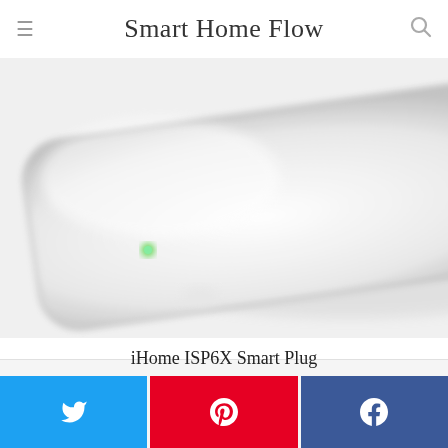Smart Home Flow
[Figure (photo): Close-up blurred photo of iHome ISP6X smart plug, a white compact smart plug device with plug prongs visible on the right side and a green LED indicator on the left side]
iHome ISP6X Smart Plug
$22.59
VIEW ON AMAZON >